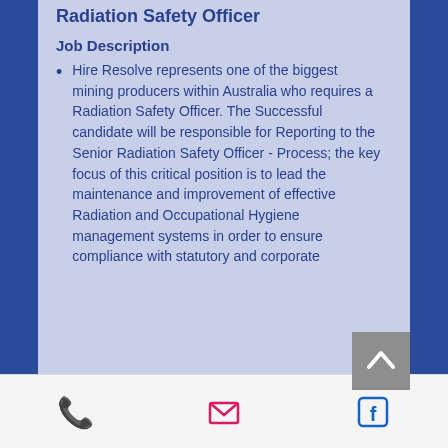Radiation Safety Officer
Job Description
Hire Resolve represents one of the biggest mining producers within Australia who requires a Radiation Safety Officer. The Successful candidate will be responsible for Reporting to the Senior Radiation Safety Officer - Process; the key focus of this critical position is to lead the maintenance and improvement of effective Radiation and Occupational Hygiene management systems in order to ensure compliance with statutory and corporate
Phone | Email | Facebook